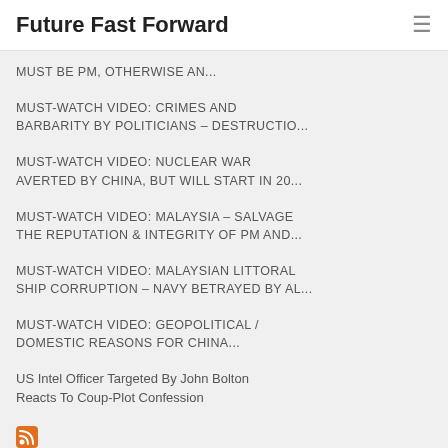Future Fast Forward
MUST BE PM, OTHERWISE AN...
MUST-WATCH VIDEO: CRIMES AND BARBARITY BY POLITICIANS – DESTRUCTIO...
MUST-WATCH VIDEO: NUCLEAR WAR AVERTED BY CHINA, BUT WILL START IN 20...
MUST-WATCH VIDEO: MALAYSIA – SALVAGE THE REPUTATION & INTEGRITY OF PM AND...
MUST-WATCH VIDEO: MALAYSIAN LITTORAL SHIP CORRUPTION – NAVY BETRAYED BY AL...
MUST-WATCH VIDEO: GEOPOLITICAL / DOMESTIC REASONS FOR CHINA...
US Intel Officer Targeted By John Bolton Reacts To Coup-Plot Confession
[Figure (logo): RSS feed icon in orange]